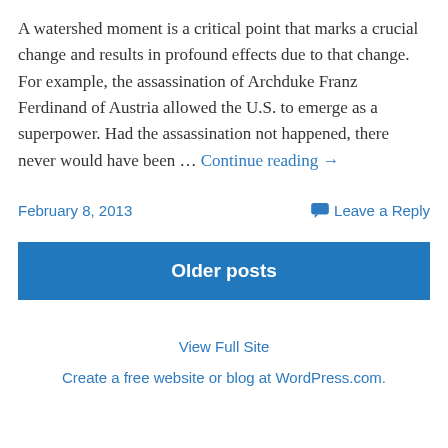A watershed moment is a critical point that marks a crucial change and results in profound effects due to that change. For example, the assassination of Archduke Franz Ferdinand of Austria allowed the U.S. to emerge as a superpower. Had the assassination not happened, there never would have been … Continue reading →
February 8, 2013
Leave a Reply
Older posts
View Full Site
Create a free website or blog at WordPress.com.